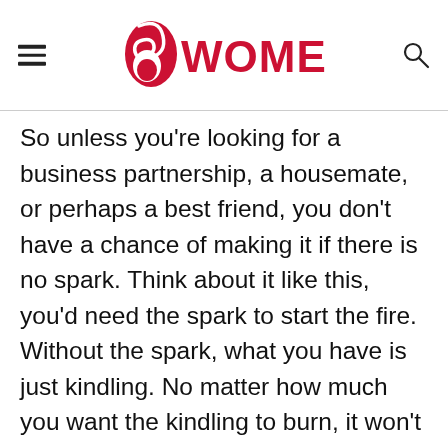WOMENIO
So unless you're looking for a business partnership, a housemate, or perhaps a best friend, you don't have a chance of making it if there is no spark. Think about it like this, you'd need the spark to start the fire. Without the spark, what you have is just kindling. No matter how much you want the kindling to burn, it won't spontaneously combust with only the power of your will.